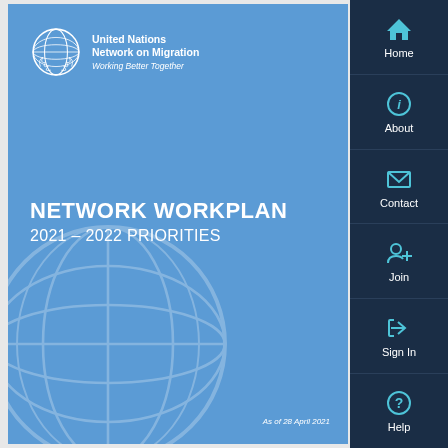[Figure (logo): United Nations Network on Migration logo with globe emblem and text 'Working Better Together']
NETWORK WORKPLAN
2021 – 2022 PRIORITIES
As of 28 April 2021
[Figure (infographic): Right-side navigation panel with dark navy background containing menu items: Home (house icon), About (info icon), Contact (envelope icon), Join (person+ icon), Sign In (arrow-right-bracket icon), Help (question mark icon)]